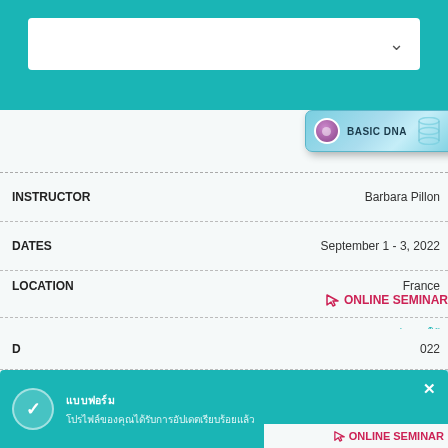[Figure (screenshot): Top teal navigation bar with white dropdown/search box and chevron]
[Figure (logo): Basic DNA badge with purple circle icon and DNA helix graphic (partially cropped at top)]
| INSTRUCTOR | Barbara Pillon |
| DATES | September 1 - 3, 2022 |
| LOCATION | France / ONLINE SEMINAR |
| TYPE | BASIC DNA badge |
| INSTRUCTOR | Gonca Yıldız |
| D | 2022 |
| L | key / ONLINE SEMINAR |
[Figure (logo): Large Basic DNA badge with purple circle icon and DNA helix, teal gradient background]
[Figure (screenshot): Teal toast notification with checkmark icon, encoded text title and body, and X close button overlaying the bottom rows]